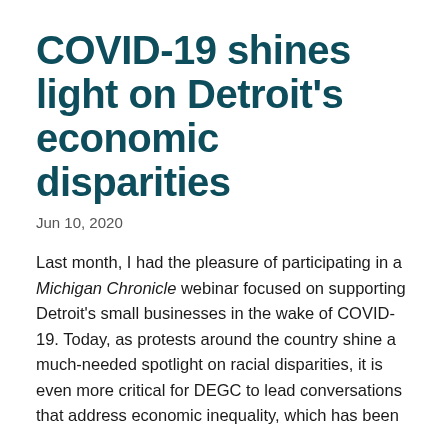COVID-19 shines light on Detroit's economic disparities
Jun 10, 2020
Last month, I had the pleasure of participating in a Michigan Chronicle webinar focused on supporting Detroit's small businesses in the wake of COVID-19. Today, as protests around the country shine a much-needed spotlight on racial disparities, it is even more critical for DEGC to lead conversations that address economic inequality, which has been